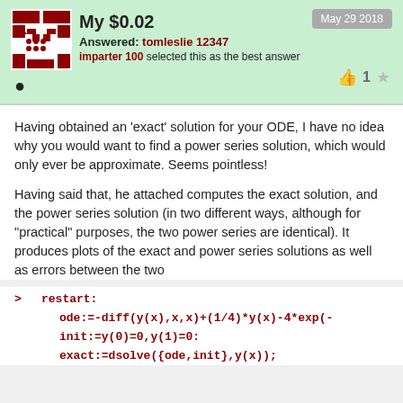My $0.02 — May 29 2018
Answered: tomleslie 12347
imparter 100 selected this as the best answer
Having obtained an 'exact' solution for your ODE, I have no idea why you would want to find a power series solution, which would only ever be approximate. Seems pointless!
Having said that, he attached computes the exact solution, and the power series solution (in two different ways, although for "practical" purposes, the two power series are identical). It produces plots of the exact and power series solutions as well as errors between the two
> restart:
   ode:=-diff(y(x),x,x)+(1/4)*y(x)-4*exp(-
   init:=y(0)=0,y(1)=0:
   exact:=dsolve({ode,init},y(x));